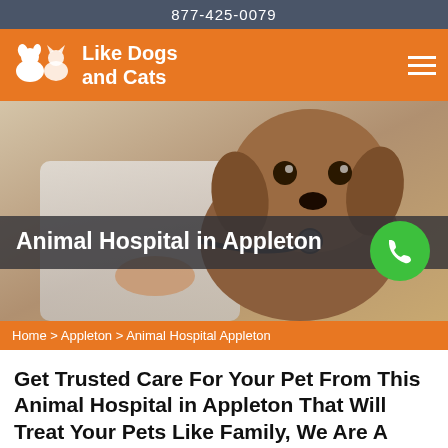877-425-0079
Like Dogs and Cats
[Figure (photo): A brown puppy being examined with a stethoscope by a veterinarian in a white coat. Large hero image for an animal hospital website.]
Animal Hospital in Appleton
Home > Appleton > Animal Hospital Appleton
Get Trusted Care For Your Pet From This Animal Hospital in Appleton That Will Treat Your Pets Like Family, We Are A